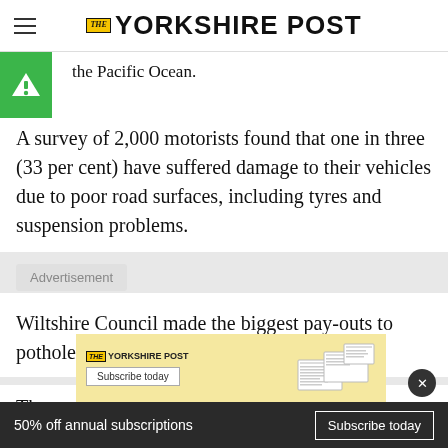The Yorkshire Post
the Pacific Ocean.
A survey of 2,000 motorists found that one in three (33 per cent) have suffered damage to their vehicles due to poor road surfaces, including tyres and suspension problems.
Advertisement
Wiltshire Council made the biggest pay-outs to pothole victims at £508,000 last year.
The Westminster City Council forking out the
50% off annual subscriptions Subscribe today